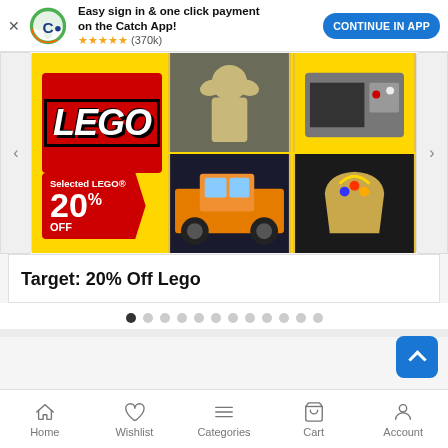[Figure (screenshot): App install banner for Catch app with logo, text 'Easy sign in & one click payment on the Catch App!', 5-star rating (370k reviews), and 'CONTINUE IN APP' button]
[Figure (photo): LEGO promotional banner on yellow background showing LEGO logo in red box, 'Selected LEGO® 20% OFF' discount badge, and product images including Star Wars Grogu, Nintendo system, Ford Raptor, and Infinity Gauntlet]
Target: 20% Off Lego
[Figure (other): Carousel pagination dots, 12 total, first one filled/active]
Home  Wishlist  Categories  Cart  Account